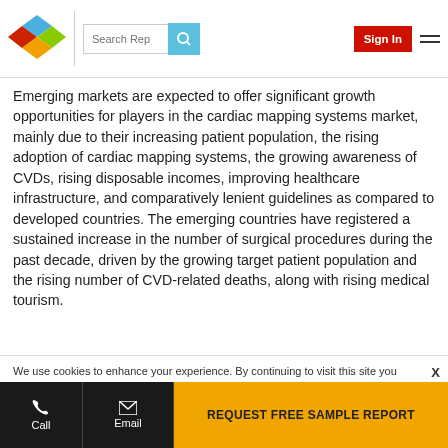Search Rep | Sign In
Emerging markets are expected to offer significant growth opportunities for players in the cardiac mapping systems market, mainly due to their increasing patient population, the rising adoption of cardiac mapping systems, the growing awareness of CVDs, rising disposable incomes, improving healthcare infrastructure, and comparatively lenient guidelines as compared to developed countries. The emerging countries have registered a sustained increase in the number of surgical procedures during the past decade, driven by the growing target patient population and the rising number of CVD-related deaths, along with rising medical tourism.
We use cookies to enhance your experience. By continuing to visit this site you agree to our use of cookies . More info.
... Africa ... among the fastest-growing economies in the world
Call | Email | REQUEST FREE SAMPLE REPORT